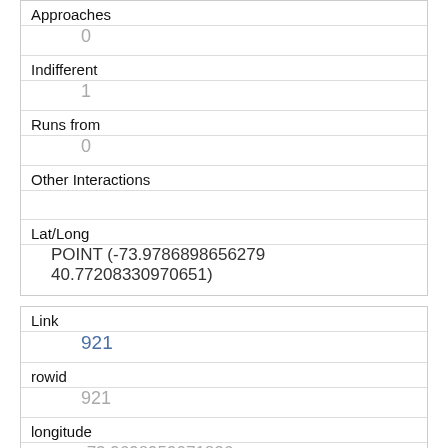| Approaches | 0 |
| Indifferent | 1 |
| Runs from | 0 |
| Other Interactions |  |
| Lat/Long | POINT (-73.9786898656279 40.77208330970651) |
| Link | 921 |
| rowid | 921 |
| longitude | -73.9698959071826 |
| latitude | 40.7716763799299 |
| Unique Squirrel ID | 9H-AM-1006-05 |